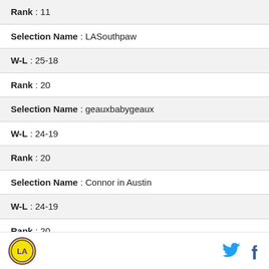| Rank : 11 |
| Selection Name : LASouthpaw |
| W-L : 25-18 |
| Rank : 20 |
| Selection Name : geauxbabygeaux |
| W-L : 24-19 |
| Rank : 20 |
| Selection Name : Connor in Austin |
| W-L : 24-19 |
| Rank : 20 |
| Selection Name : GeauxDat |
Logo | Twitter | Facebook